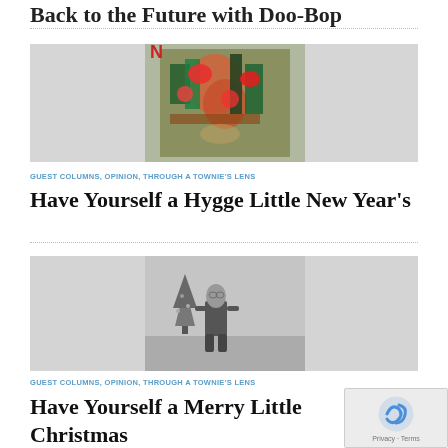Back to the Future with Doo-Bop
[Figure (photo): Colorful artwork or painting with vivid Christmas/holiday-themed imagery, centered on a light gray background card]
GUEST COLUMNS, OPINION, THROUGH A TOWNIE'S LENS
Have Yourself a Hygge Little New Year's
[Figure (photo): Black and white photograph of an older man seated near a small Christmas tree]
GUEST COLUMNS, OPINION, THROUGH A TOWNIE'S LENS
Have Yourself a Merry Little Christmas